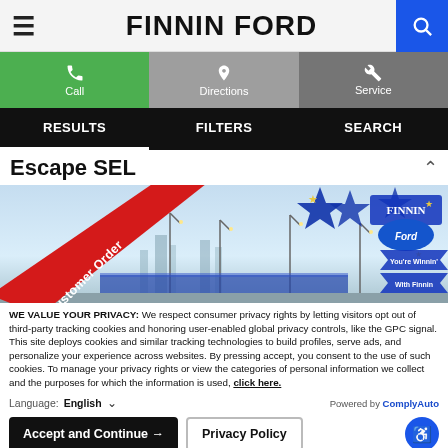FINNIN FORD
Call  Directions  Service
RESULTS  FILTERS  SEARCH
Escape SEL
[Figure (photo): Finnin Ford car lot image with a red diagonal 'Customer Order' banner in the lower left and Finnin Ford logo badge in the upper right, blue sky background.]
WE VALUE YOUR PRIVACY: We respect consumer privacy rights by letting visitors opt out of third-party tracking cookies and honoring user-enabled global privacy controls, like the GPC signal. This site deploys cookies and similar tracking technologies to build profiles, serve ads, and personalize your experience across websites. By pressing accept, you consent to the use of such cookies. To manage your privacy rights or view the categories of personal information we collect and the purposes for which the information is used, click here.
Language: English  ∨  Powered by ComplyAuto
Accept and Continue →  Privacy Policy